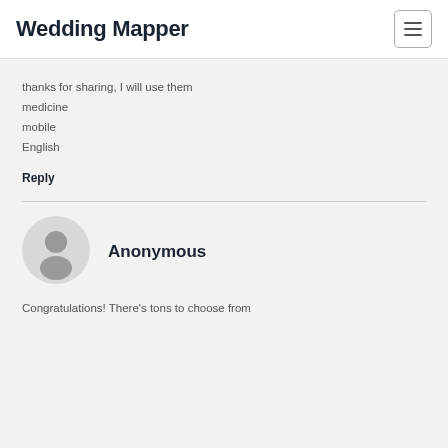Wedding Mapper
thanks for sharing, I will use them
medicine
mobile
English
Reply
[Figure (illustration): Anonymous user avatar — circular grey icon with a person silhouette]
Anonymous
Congratulations! There's tons to choose from